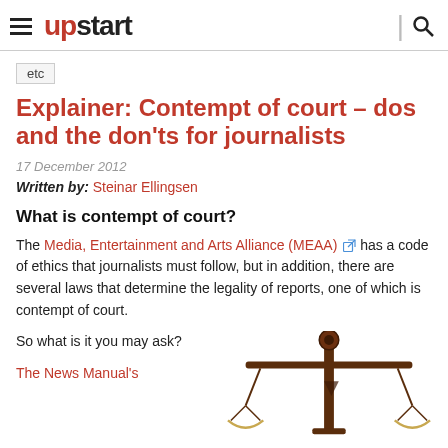upstart
etc
Explainer: Contempt of court – dos and the don'ts for journalists
17 December 2012
Written by: Steinar Ellingsen
What is contempt of court?
The Media, Entertainment and Arts Alliance (MEAA) has a code of ethics that journalists must follow, but in addition, there are several laws that determine the legality of reports, one of which is contempt of court.
So what is it you may ask?
The News Manual's
[Figure (illustration): Scales of justice illustration — a decorative gold and brown balance scale on a white background, partially cropped at the bottom right of the page]